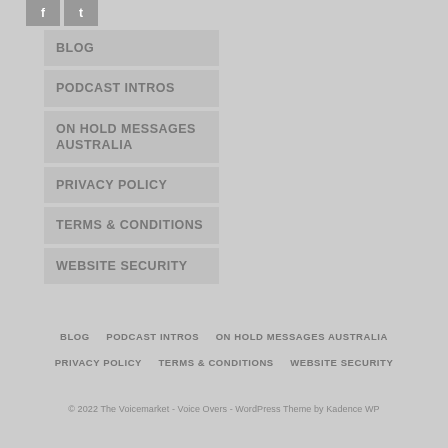[Figure (other): Social media icons for Facebook and Twitter]
BLOG
PODCAST INTROS
ON HOLD MESSAGES AUSTRALIA
PRIVACY POLICY
TERMS & CONDITIONS
WEBSITE SECURITY
BLOG  PODCAST INTROS  ON HOLD MESSAGES AUSTRALIA  PRIVACY POLICY  TERMS & CONDITIONS  WEBSITE SECURITY  © 2022 The Voicemarket - Voice Overs - WordPress Theme by Kadence WP